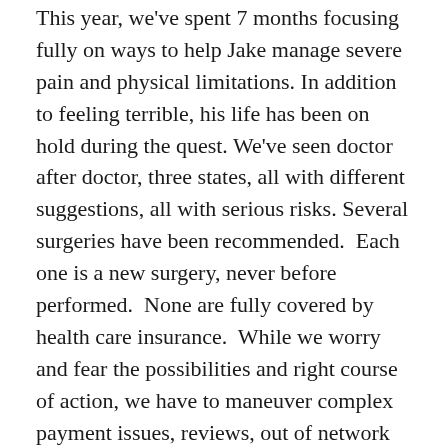This year, we've spent 7 months focusing fully on ways to help Jake manage severe pain and physical limitations. In addition to feeling terrible, his life has been on hold during the quest. We've seen doctor after doctor, three states, all with different suggestions, all with serious risks. Several surgeries have been recommended.  Each one is a new surgery, never before performed.  None are fully covered by health care insurance.  While we worry and fear the possibilities and right course of action, we have to maneuver complex payment issues, reviews, out of network situations and denials.  We have to seek subsequent diagnostic care and track down full medical records (harder than you'd think).  We have to balance competing surgical and non-surgical recommendations.  Meanwhile, multiple required medications create concerns.